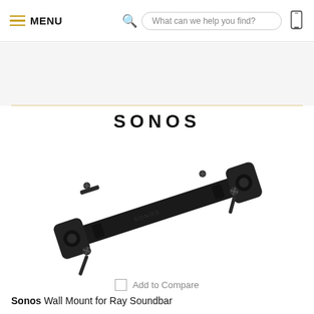MENU  What can we help you find?
[Figure (logo): SONOS brand wordmark in bold spaced capitals]
[Figure (photo): Sonos Wall Mount for Ray Soundbar product photo — a black metal wall mounting bracket with screws, shown at an angle on white background]
Add to Compare
Sonos Wall Mount for Ray Soundbar